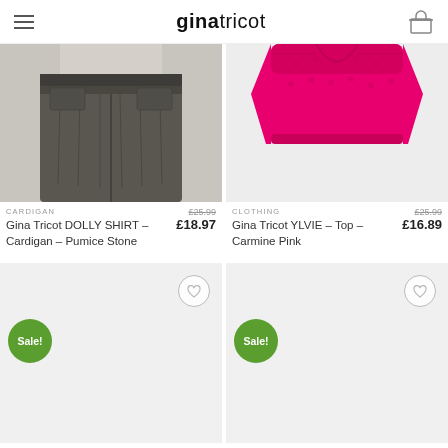ginatricot
[Figure (photo): Product photo of Gina Tricot DOLLY SHIRT Cardigan in Pumice Stone - dark grey denim shorts on model]
CARDIGAN
£25.99
£18.97
Gina Tricot DOLLY SHIRT – Cardigan – Pumice Stone
[Figure (photo): Product photo of Gina Tricot YLVIE Top in Carmine Pink - bright pink knit top]
CLOTHING
£25.99
£16.89
Gina Tricot YLVIE – Top – Carmine Pink
[Figure (photo): Product loading placeholder with Sale! badge and heart button]
[Figure (photo): Product loading placeholder with Sale! badge and heart button]